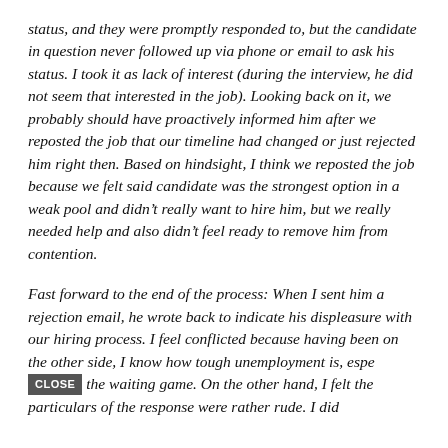status, and they were promptly responded to, but the candidate in question never followed up via phone or email to ask his status. I took it as lack of interest (during the interview, he did not seem that interested in the job). Looking back on it, we probably should have proactively informed him after we reposted the job that our timeline had changed or just rejected him right then. Based on hindsight, I think we reposted the job because we felt said candidate was the strongest option in a weak pool and didn't really want to hire him, but we really needed help and also didn't feel ready to remove him from contention.
Fast forward to the end of the process: When I sent him a rejection email, he wrote back to indicate his displeasure with our hiring process. I feel conflicted because having been on the other side, I know how tough unemployment is, especially the waiting game. On the other hand, I felt the particulars of the response were rather rude. I did